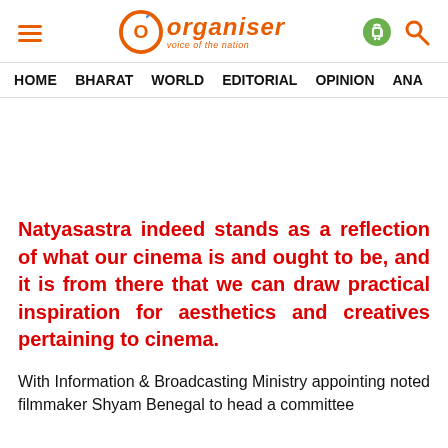Organiser — voice of the nation
HOME  BHARAT  WORLD  EDITORIAL  OPINION  ANA
Natyasastra indeed stands as a reflection of what our cinema is and ought to be, and it is from there that we can draw practical inspiration for aesthetics and creatives pertaining to cinema.
With Information & Broadcasting Ministry appointing noted filmmaker Shyam Benegal to head a committee...